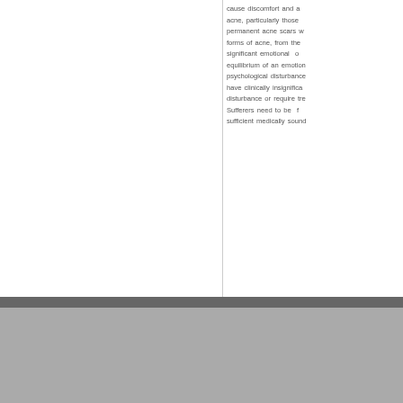cause discomfort and acne, particularly those permanent acne scars w forms of acne, from the significant emotional o equilibrium of an emotion psychological disturbance have clinically insignifica disturbance or require tre Sufferers need to be f sufficient medically sound